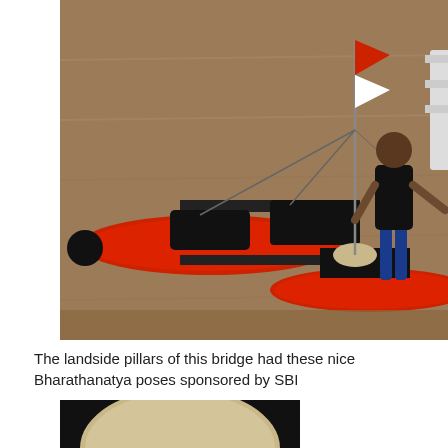[Figure (photo): A red trimaran or catamaran-style watercraft on muddy brown water. The vessel has two red inflatable hulls on the sides and a central red kayak body. A person in a black tank top and blue shorts stands on the right side of the craft near a red and white flag mounted on a pole. The craft has black seating and rigging equipment.]
The landside pillars of this bridge had these nice Bharathanatya poses sponsored by SBI
[Figure (photo): Partial view of a circular sculptural or architectural element, appears to be the top of a pillar or decorative column, tan/beige colored, visible at the bottom of the page.]